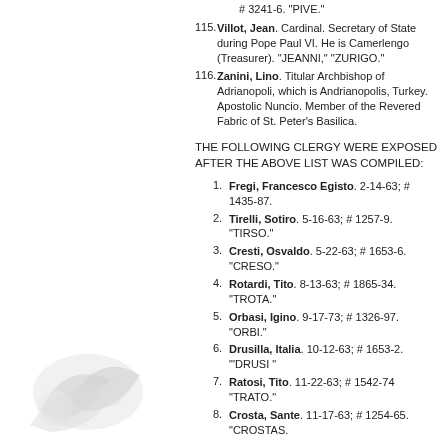# 3241-6. "PIVE."
115. Villot, Jean. Cardinal. Secretary of State during Pope Paul VI. He is Camerlengo (Treasurer). "JEANNI," "ZURIGO."
116. Zanini, Lino. Titular Archbishop of Adrianopoli, which is Andrianopolis, Turkey. Apostolic Nuncio. Member of the Revered Fabric of St. Peter's Basilica.
THE FOLLOWING CLERGY WERE EXPOSED AFTER THE ABOVE LIST WAS COMPILED:
1. Fregi, Francesco Egisto. 2-14-63; # 1435-87.
2. Tirelli, Sotiro. 5-16-63; # 1257-9. "TIRSO."
3. Cresti, Osvaldo. 5-22-63; # 1653-6. "CRESO."
4. Rotardi, Tito. 8-13-63; # 1865-34. "TROTA."
5. Orbasi, Igino. 9-17-73; # 1326-97. "ORBI."
6. Drusilla, Italia. 10-12-63; # 1653-2. "'DRUSI "
7. Ratosi, Tito. 11-22-63; # 1542-74 "TRATO."
8. Crosta, Sante. 11-17-63; # 1254-65. "CROSTAS.